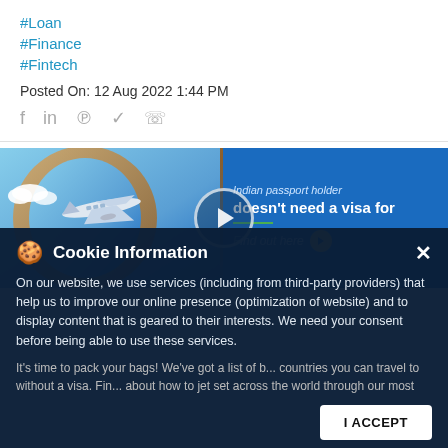#Loan
#Finance
#Fintech
Posted On: 12 Aug 2022 1:44 PM
[Figure (screenshot): Advertisement banner showing an airplane in flight with text 'Indian passport holder doesn't need a visa for' and 'Find out here' button on a blue background]
Cookie Information

On our website, we use services (including from third-party providers) that help us to improve our online presence (optimization of website) and to display content that is geared to their interests. We need your consent before being able to use these services.
It's time to pack your bags! We've got a list of b... countries you can travel to without a visa. Fin... about how to jet set across the world through our most